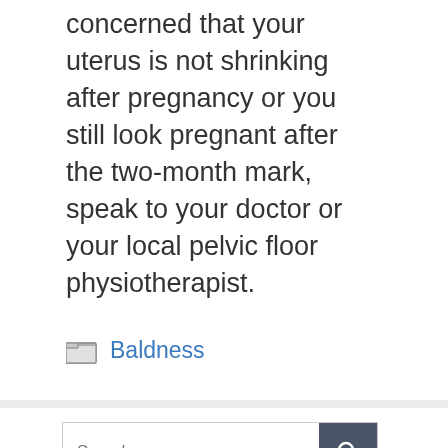concerned that your uterus is not shrinking after pregnancy or you still look pregnant after the two-month mark, speak to your doctor or your local pelvic floor physiotherapist.
Baldness
Search …
From the author